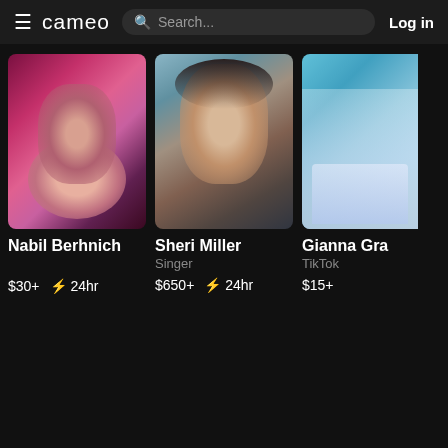cameo  Search...  Log in
[Figure (photo): Nabil Berhnich profile photo - person with wide grin and dramatic expression, reddish hair]
Nabil Berhnich
$30+  ⚡ 24hr
[Figure (photo): Sheri Miller profile photo - woman with dark hair and blue eye makeup, glamour shot]
Sheri Miller
Singer
$650+  ⚡ 24hr
[Figure (photo): Gianna Gra... profile photo - person in white top and jeans, partially cropped]
Gianna Gra...
TikTok
$15+